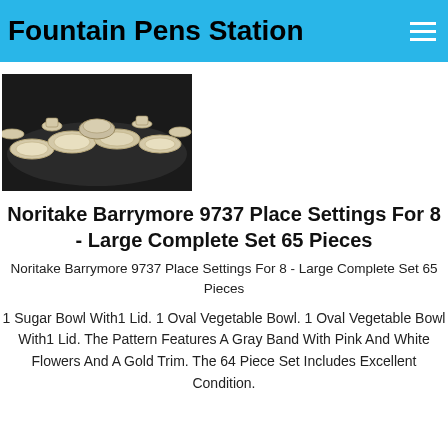Fountain Pens Station
[Figure (photo): Photo of a large Noritake Barrymore 9737 dinnerware set with multiple plates, bowls, and serving pieces arranged on a dark background.]
Noritake Barrymore 9737 Place Settings For 8 - Large Complete Set 65 Pieces
Noritake Barrymore 9737 Place Settings For 8 - Large Complete Set 65 Pieces
1 Sugar Bowl With1 Lid. 1 Oval Vegetable Bowl. 1 Oval Vegetable Bowl With1 Lid. The Pattern Features A Gray Band With Pink And White Flowers And A Gold Trim. The 64 Piece Set Includes Excellent Condition.